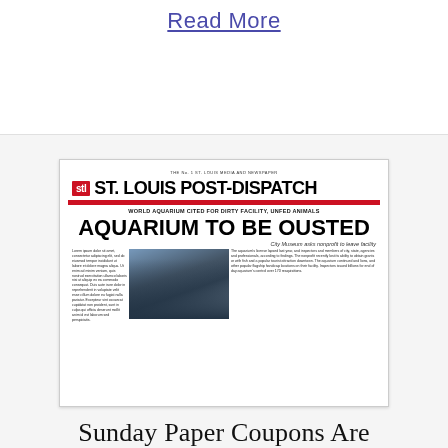Read More
[Figure (photo): St. Louis Post-Dispatch newspaper front page showing headline 'AQUARIUM TO BE OUSTED' with subheadline 'WORLD AQUARIUM CITED FOR DIRTY FACILITY, UNFED ANIMALS' and 'City Museum asks nonprofit to leave facility'. Features the STL logo, a red banner, and a photograph of people at the aquarium.]
Sunday Paper Coupons Are